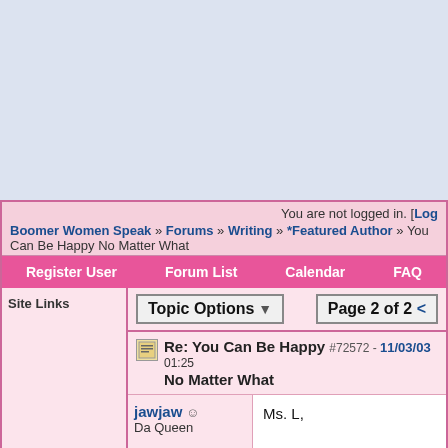You are not logged in. [Log
Boomer Women Speak » Forums » Writing » *Featured Author » You Can Be Happy No Matter What
Register User   Forum List   Calendar   FAQ
Site Links
Topic Options ▼
Page 2 of 2 <
Re: You Can Be Happy No Matter What   #72572 - 11/03/03 01:25
jawjaw ☺
Da Queen

Ms. L,

I'll be glad to sell you my boo what? what?

and now I'm going back and read the part about us being
Registered: